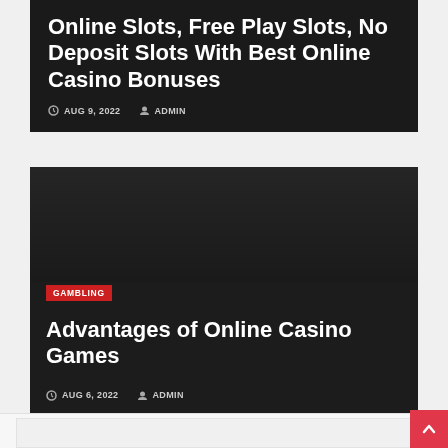Online Slots, Free Play Slots, No Deposit Slots With Best Online Casino Bonuses
AUG 9, 2022  ADMIN
[Figure (screenshot): Dark card with GAMBLING tag and article title]
Advantages of Online Casino Games
AUG 6, 2022  ADMIN